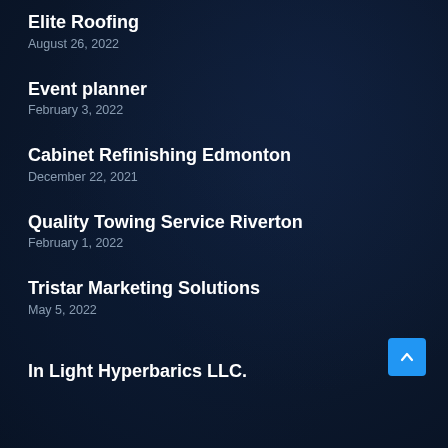Elite Roofing
August 26, 2022
Event planner
February 3, 2022
Cabinet Refinishing Edmonton
December 22, 2021
Quality Towing Service Riverton
February 1, 2022
Tristar Marketing Solutions
May 5, 2022
In Light Hyperbarics LLC.